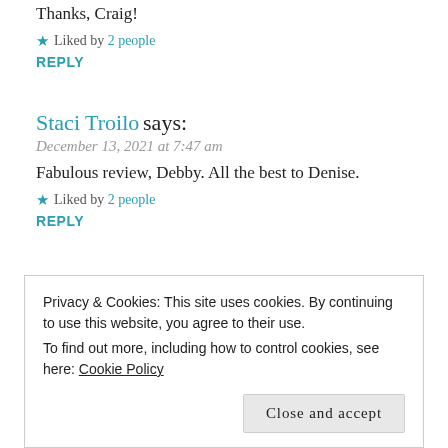Thanks, Craig!
★ Liked by 2 people
REPLY
Staci Troilo says:
December 13, 2021 at 7:47 am
Fabulous review, Debby. All the best to Denise.
★ Liked by 2 people
REPLY
D.L. Finn, Author says:
Privacy & Cookies: This site uses cookies. By continuing to use this website, you agree to their use. To find out more, including how to control cookies, see here: Cookie Policy
Close and accept